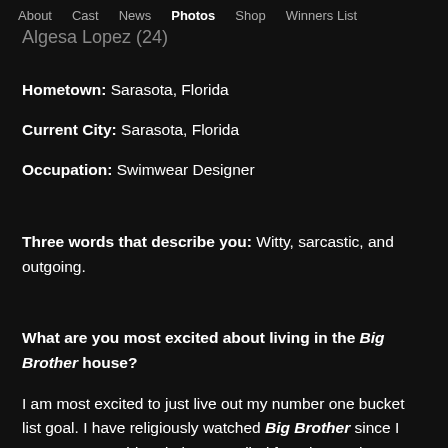About   Cast   News   Photos   Shop   Winners List
Algesa Lopez (24)
Hometown: Sarasota, Florida
Current City: Sarasota, Florida
Occupation: Swimwear Designer
Three words that describe you: Witty, sarcastic, and outgoing.
What are you most excited about living in the Big Brother house?
I am most excited to just live out my number one bucket list goal. I have religiously watched Big Brother since I was 11 years old and I have applied four times. I have a photo of the Big Brother logo on my vision board. It will also be exciting to meet new people around the U.S. and live somewhere different than Sarasota. I have never lived outside Sarasota in my life.
What is your strategy for winning the game?